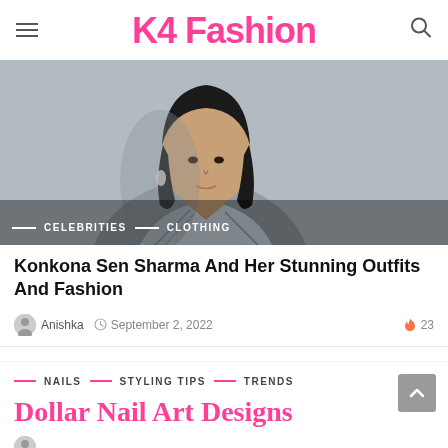K4 Fashion
[Figure (photo): Portrait photo of Konkona Sen Sharma wearing a light blue patterned jacket, with black bob hair, against a grey background. Tags: CELEBRITIES, CLOTHING overlaid at bottom left.]
Konkona Sen Sharma And Her Stunning Outfits And Fashion
Anishka  September 2, 2022  🔥 23
NAILS  STYLING TIPS  TRENDS
Dollar Nail Art Designs